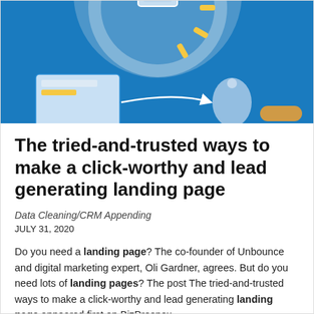[Figure (illustration): Blue background hero image with illustrated computer/dashboard interface elements, a circular clock-like graphic with yellow accents, and digital marketing UI components.]
The tried-and-trusted ways to make a click-worthy and lead generating landing page
Data Cleaning/CRM Appending
JULY 31, 2020
Do you need a landing page? The co-founder of Unbounce and digital marketing expert, Oli Gardner, agrees. But do you need lots of landing pages? The post The tried-and-trusted ways to make a click-worthy and lead generating landing page appeared first on BizProspex.